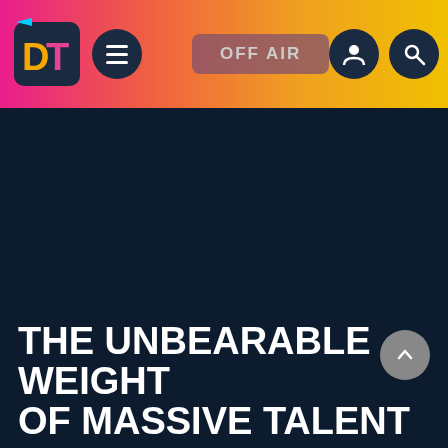[Figure (screenshot): DT (Daily Themed?) website navigation bar with gradient background (pink to yellow), DT logo, hamburger menu button, OFF AIR button, user icon and search icon]
[Figure (photo): Dark navy blue area representing a video/image placeholder area on the website]
THE UNBEARABLE WEIGHT OF MASSIVE TALENT